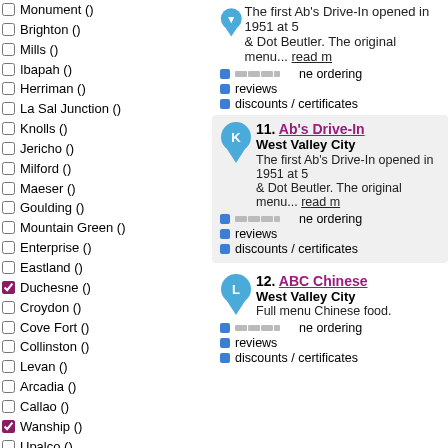Monument ()
Brighton ()
Mills ()
Ibapah ()
Herriman ()
La Sal Junction ()
Knolls ()
Jericho ()
Milford ()
Maeser ()
Goulding ()
Mountain Green ()
Enterprise ()
Eastland ()
Duchesne () [checked]
Croydon ()
Cove Fort ()
Collinston ()
Levan ()
Arcadia ()
Callao ()
Wanship () [checked]
Upalco ()
Wendover ()
Rockport Res ()
Fish Springs Wildlife Refuge ()
Park Valley ()
Nordic Valley ()
Capitol Reef National Park ()
Pineview Reservoir ()
Pintura ()
The first Ab's Drive-In opened in 1951 at 5... & Dot Beutler. The original menu... read more
phone ordering
reviews
discounts / certificates
11. Ab's Drive-In
West Valley City
The first Ab's Drive-In opened in 1951 at 5... & Dot Beutler. The original menu... read more
phone ordering
reviews
discounts / certificates
12. ABC Chinese
West Valley City
Full menu Chinese food.
phone ordering
reviews
discounts / certificates